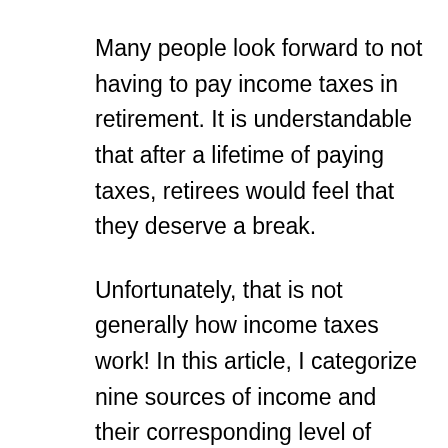Many people look forward to not having to pay income taxes in retirement. It is understandable that after a lifetime of paying taxes, retirees would feel that they deserve a break.
Unfortunately, that is not generally how income taxes work! In this article, I categorize nine sources of income and their corresponding level of